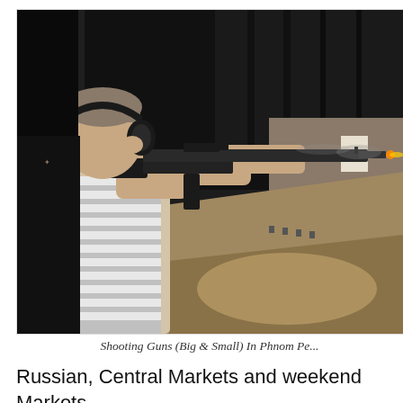[Figure (photo): A man wearing a striped sleeveless shirt and ear protection headphones fires an assault rifle (AR-15 style) at an indoor shooting range. The range has dark walls and a sandy floor with targets visible in the distance. A flash is visible at the muzzle.]
Shooting Guns (Big & Small) In Phnom Pe...
Russian, Central Markets and weekend Markets.